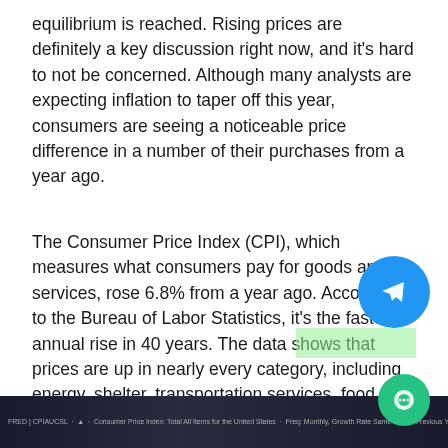equilibrium is reached. Rising prices are definitely a key discussion right now, and it's hard to not be concerned. Although many analysts are expecting inflation to taper off this year, consumers are seeing a noticeable price difference in a number of their purchases from a year ago.
The Consumer Price Index (CPI), which measures what consumers pay for goods and services, rose 6.8% from a year ago. According to the Bureau of Labor Statistics, it's the fastest annual rise in 40 years. The data shows that prices are up in nearly every category, including energy, shelter, transportation services, food, and used cars. As expected, energy commodities are the main driver with a 12-month percentage change of 48.9%. Meat, poultry, fish, and eggs rose 12.5% over the same period.
[Figure (screenshot): Dark browser/chart window showing Consumer Price Index data at bottom of page]